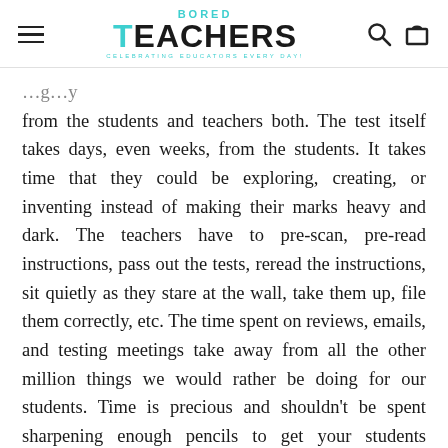BORED TEACHERS — Celebrating Educators Every Day!
from the students and teachers both. The test itself takes days, even weeks, from the students. It takes time that they could be exploring, creating, or inventing instead of making their marks heavy and dark. The teachers have to pre-scan, pre-read instructions, pass out the tests, reread the instructions, sit quietly as they stare at the wall, take them up, file them correctly, etc. The time spent on reviews, emails, and testing meetings take away from all the other million things we would rather be doing for our students. Time is precious and shouldn't be spent sharpening enough pencils to get your students through the next 6 hours of testing.